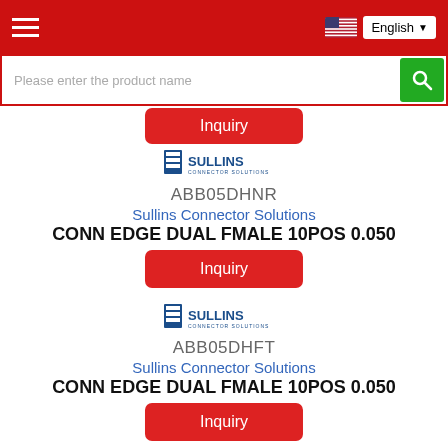Navigation bar with hamburger menu and English language selector
Please enter the product name
Inquiry
[Figure (logo): Sullins Connector Solutions logo]
ABB05DHNR
Sullins Connector Solutions
CONN EDGE DUAL FMALE 10POS 0.050
Inquiry
[Figure (logo): Sullins Connector Solutions logo]
ABB05DHFT
Sullins Connector Solutions
CONN EDGE DUAL FMALE 10POS 0.050
Inquiry